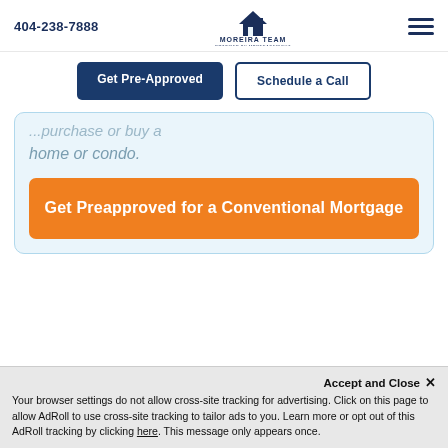404-238-7888 | Moreira Team powered by MortgageRight
Get Pre-Approved | Schedule a Call
home or condo.
Get Preapproved for a Conventional Mortgage
Accept and Close ✕
Your browser settings do not allow cross-site tracking for advertising. Click on this page to allow AdRoll to use cross-site tracking to tailor ads to you. Learn more or opt out of this AdRoll tracking by clicking here. This message only appears once.